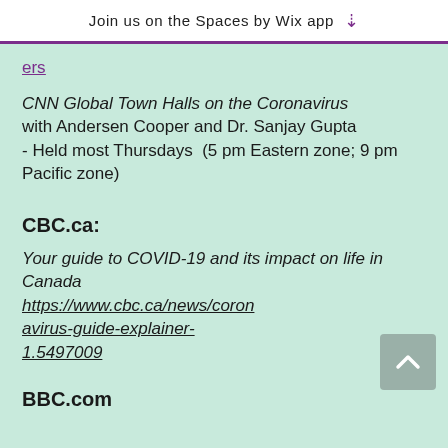Join us on the Spaces by Wix app ↓
ers
CNN Global Town Halls on the Coronavirus with Andersen Cooper and Dr. Sanjay Gupta - Held most Thursdays (5 pm Eastern zone; 9 pm Pacific zone)
CBC.ca:
Your guide to COVID-19 and its impact on life in Canada https://www.cbc.ca/news/coronavirus-guide-explainer-1.5497009
BBC.com